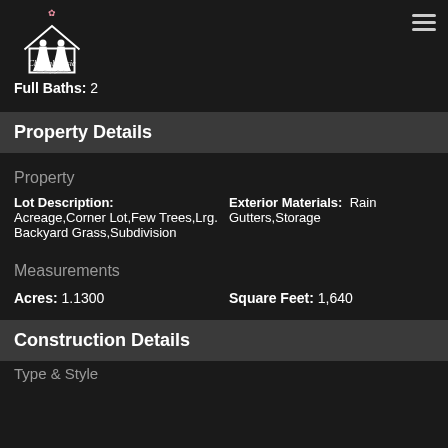[Figure (logo): Chantal Jessie Your Staging Realtor logo with house and dress silhouette]
Full Baths:  2
Property Details
Property
Lot Description: Acreage,Corner Lot,Few Trees,Lrg. Backyard Grass,Subdivision
Exterior Materials: Rain Gutters,Storage
Measurements
Acres: 1.1300
Square Feet: 1,640
Construction Details
Type & Style